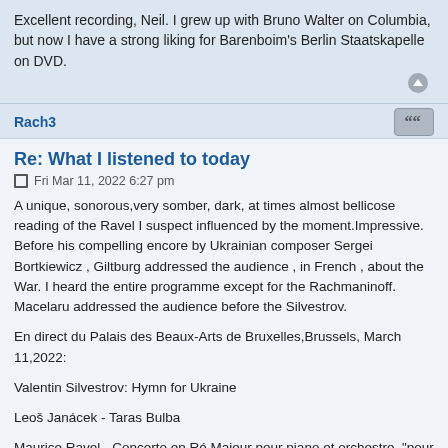Excellent recording, Neil. I grew up with Bruno Walter on Columbia, but now I have a strong liking for Barenboim's Berlin Staatskapelle on DVD.
Rach3
Re: What I listened to today
Fri Mar 11, 2022 6:27 pm
A unique, sonorous,very somber, dark, at times almost bellicose reading of the Ravel I suspect influenced by the moment.Impressive. Before his compelling encore by Ukrainian composer Sergei Bortkiewicz , Giltburg addressed the audience , in French , about the War. I heard the entire programme except for the Rachmaninoff. Macelaru addressed the audience before the Silvestrov.
En direct du Palais des Beaux-Arts de Bruxelles,Brussels, March 11,2022:
Valentin Silvestrov: Hymn for Ukraine
Leoš Janácek - Taras Bulba
Maurice Ravel - Concerto en Ré Majeur pour piano et orchestre, "pour la main gauche"